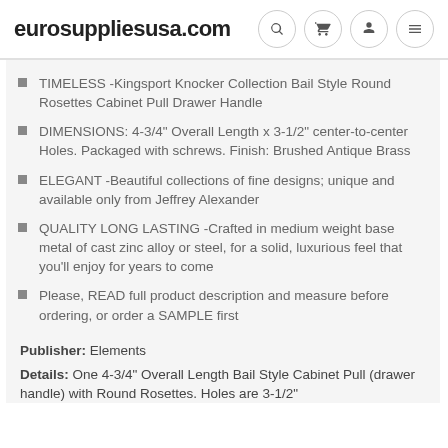eurosuppliesusa.com
TIMELESS -Kingsport Knocker Collection Bail Style Round Rosettes Cabinet Pull Drawer Handle
DIMENSIONS: 4-3/4" Overall Length x 3-1/2" center-to-center Holes. Packaged with schrews. Finish: Brushed Antique Brass
ELEGANT -Beautiful collections of fine designs; unique and available only from Jeffrey Alexander
QUALITY LONG LASTING -Crafted in medium weight base metal of cast zinc alloy or steel, for a solid, luxurious feel that you'll enjoy for years to come
Please, READ full product description and measure before ordering, or order a SAMPLE first
Publisher: Elements
Details: One 4-3/4" Overall Length Bail Style Cabinet Pull (drawer handle) with Round Rosettes. Holes are 3-1/2"